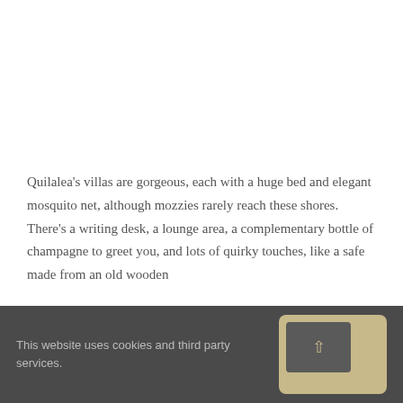Quilalea's villas are gorgeous, each with a huge bed and elegant mosquito net, although mozzies rarely reach these shores. There’s a writing desk, a lounge area, a complementary bottle of champagne to greet you, and lots of quirky touches, like a safe made from an old wooden
This website uses cookies and third party services.